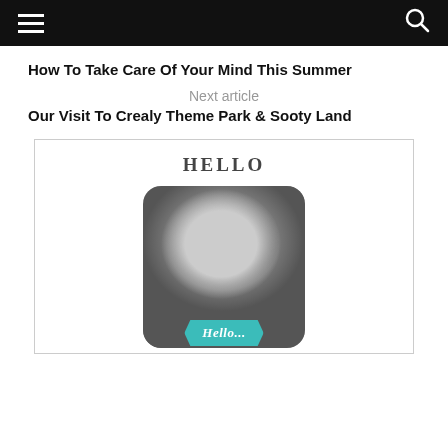Navigation bar with hamburger menu and search icon
How To Take Care Of Your Mind This Summer
Next article
Our Visit To Crealy Theme Park & Sooty Land
HELLO
[Figure (photo): Black and white portrait photo of a blonde woman with a teal 'Hello...' banner overlay at the bottom]